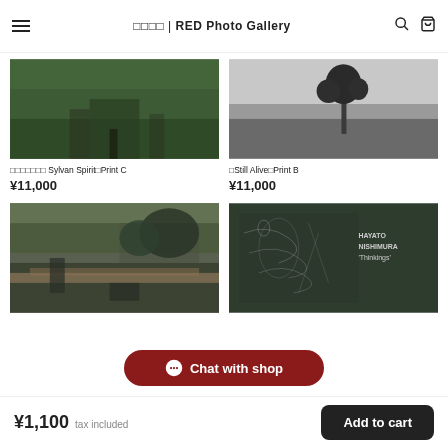□□□□ | RED Photo Gallery
[Figure (photo): Green field/grassland photo - Sylvan Spirit product image]
[Figure (photo): Black and white landscape with single tree - Still Alive product image]
□□□□□□□ Sylvan Spirit□Print C
¥11,000
□Still Alive□Print B
¥11,000
[Figure (photo): Street/park scene photo product image]
[Figure (photo): Dark green book cover - HAYATO NISHIMURA Thinkings]
Chat with shop
¥1,100  tax included
Add to cart